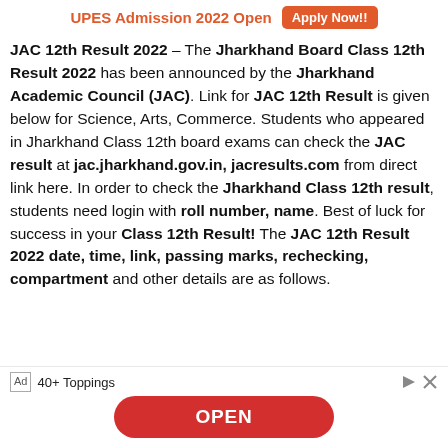UPES Admission 2022 Open  Apply Now!!
JAC 12th Result 2022 – The Jharkhand Board Class 12th Result 2022 has been announced by the Jharkhand Academic Council (JAC). Link for JAC 12th Result is given below for Science, Arts, Commerce. Students who appeared in Jharkhand Class 12th board exams can check the JAC result at jac.jharkhand.gov.in, jacresults.com from direct link here. In order to check the Jharkhand Class 12th result, students need login with roll number, name. Best of luck for success in your Class 12th Result! The JAC 12th Result 2022 date, time, link, passing marks, rechecking, compartment and other details are as follows.
[Figure (screenshot): Advertisement banner with '40+ Toppings' text, Ad label, navigation icons, and a red OPEN button]